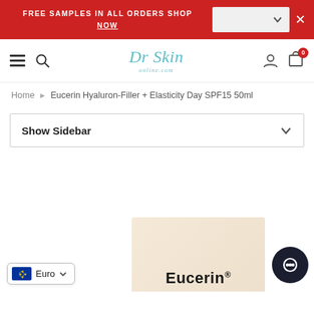FREE SAMPLES IN ALL ORDERS SHOP NOW
[Figure (screenshot): Dr Skin Online website navigation bar with hamburger menu, search icon, logo, user icon, and cart icon with 0 badge]
Home › Eucerin Hyaluron-Filler + Elasticity Day SPF15 50ml
Show Sidebar
[Figure (photo): Partial product box of Eucerin Hyaluron-Filler + Elasticity Day SPF15 50ml visible at bottom right, with chat bubble icon and Euro currency selector]